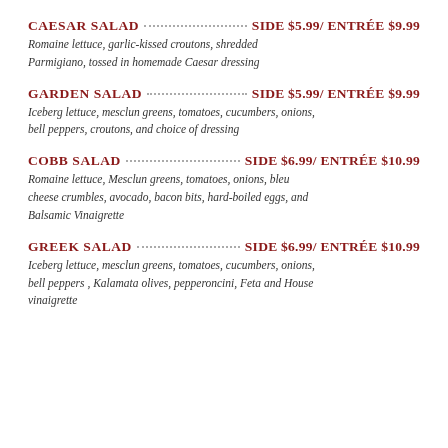CAESAR SALAD  SIDE $5.99/ ENTRÉE $9.99
Romaine lettuce, garlic-kissed croutons, shredded Parmigiano, tossed in homemade Caesar dressing
GARDEN SALAD  SIDE $5.99/ ENTRÉE $9.99
Iceberg lettuce, mesclun greens, tomatoes, cucumbers, onions, bell peppers, croutons, and choice of dressing
COBB SALAD  SIDE $6.99/ ENTRÉE $10.99
Romaine lettuce, Mesclun greens, tomatoes, onions, bleu cheese crumbles, avocado, bacon bits, hard-boiled eggs, and Balsamic Vinaigrette
GREEK SALAD  SIDE $6.99/ ENTRÉE $10.99
Iceberg lettuce, mesclun greens, tomatoes, cucumbers, onions, bell peppers , Kalamata olives, pepperoncini, Feta and House vinaigrette